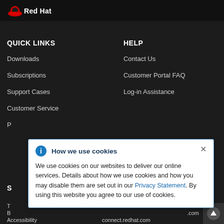Red Hat
QUICK LINKS
Downloads
Subscriptions
Support Cases
Customer Service
P[artial, obscured]
HELP
Contact Us
Customer Portal FAQ
Log-in Assistance
S[OCIAL / other, obscured by modal]
ES[obscured]
[Figure (other): Cookie consent modal popup with blue info icon, title 'How we use cookies', close X button, body text about cookie usage with Privacy Statement link]
Accessibility
connect.redhat.com